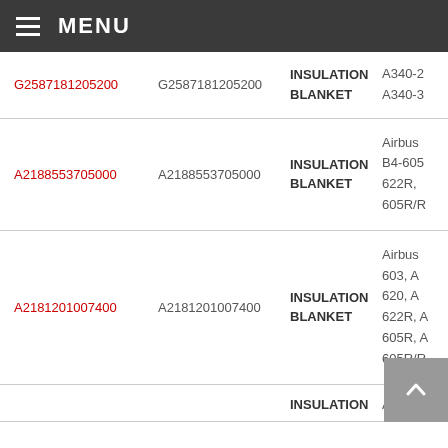MENU
| Part Number (Link) | Part Number | Description | Aircraft |
| --- | --- | --- | --- |
| G2587181205200 | G2587181205200 | INSULATION BLANKET | A340-2 A340-3 |
| A2188553705000 | A2188553705000 | INSULATION BLANKET | Airbus B4-605 622R, 605R/R |
| A2181201007400 | A2181201007400 | INSULATION BLANKET | Airbus 603, A 620, A 622R, A 605R, A 605R/R |
|  |  | INSULATION | Airbus |